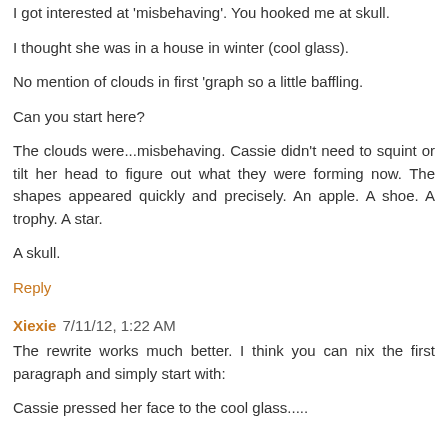I got interested at 'misbehaving'. You hooked me at skull.
I thought she was in a house in winter (cool glass).
No mention of clouds in first 'graph so a little baffling.
Can you start here?
The clouds were...misbehaving. Cassie didn't need to squint or tilt her head to figure out what they were forming now. The shapes appeared quickly and precisely. An apple. A shoe. A trophy. A star.
A skull.
Reply
Xiexie 7/11/12, 1:22 AM
The rewrite works much better. I think you can nix the first paragraph and simply start with:
Cassie pressed her face to the cool glass.....